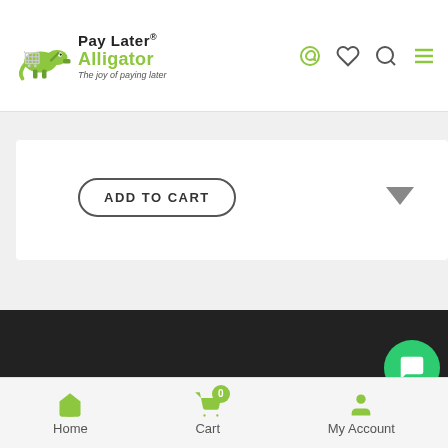[Figure (logo): Pay Later Alligator logo with alligator mascot and shopping cart, green and black branding, tagline 'The joy of paying later']
ADD TO CART
CONTACT US
[Figure (infographic): Social media icon buttons (Facebook, Twitter, Pinterest, Instagram, YouTube) as green circles with white icons]
Home  Cart  My Account